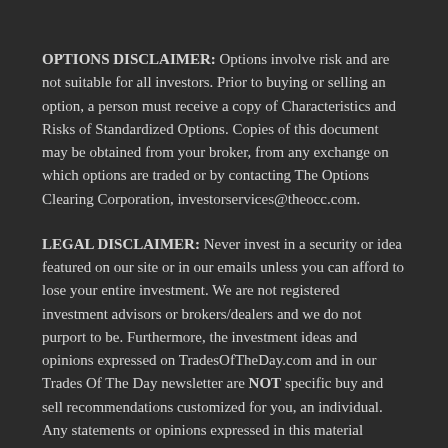OPTIONS DISCLAIMER: Options involve risk and are not suitable for all investors. Prior to buying or selling an option, a person must receive a copy of Characteristics and Risks of Standardized Options. Copies of this document may be obtained from your broker, from any exchange on which options are traded or by contacting The Options Clearing Corporation, investorservices@theocc.com.
LEGAL DISCLAIMER: Never invest in a security or idea featured on our site or in our emails unless you can afford to lose your entire investment. We are not registered investment advisors or brokers/dealers and we do not purport to be. Furthermore, the investment ideas and opinions expressed on TradesOfTheDay.com and in our Trades Of The Day newsletter are NOT specific buy and sell recommendations customized for you, an individual. Any statements or opinions expressed in this material should not be construed as investment advice. The ideas we feature should simply serve as a starting point for further research and due diligence on your part. Actual buy and sell decisions for your own portfolio are entirely up to you. We make no representations, warranties or guarantees as to the accuracy or completeness